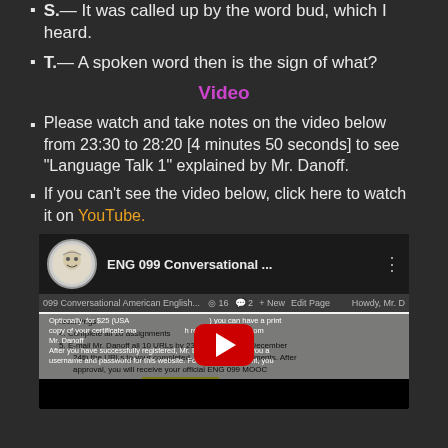S.— It was called up by the word bud, which I heard.
T.— A spoken word then is the sign of what?
Video
Please watch and take notes on the video below from 23:30 to 28:20 [4 minutes 50 seconds] to see "Language Talk 1" explained by Mr. Danoff.
If you can't see the video below, click here to watch it on YouTube.
[Figure (screenshot): YouTube video player showing ENG 099 Conversational American English course video with YouTube play button overlay]